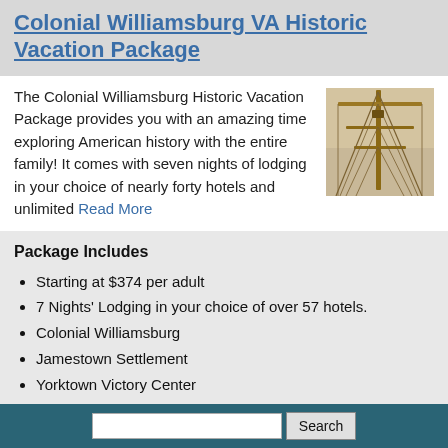Colonial Williamsburg VA Historic Vacation Package
The Colonial Williamsburg Historic Vacation Package provides you with an amazing time exploring American history with the entire family! It comes with seven nights of lodging in your choice of nearly forty hotels and unlimited Read More
[Figure (photo): Photo of tall ship mast rigging and ropes against a light background]
Package Includes
Starting at $374 per adult
7 Nights' Lodging in your choice of over 57 hotels.
Colonial Williamsburg
Jamestown Settlement
Yorktown Victory Center
Williamsburg Family Vacation Package
The Williamsburg Family Package includes three
[Figure (photo): Photo of green foliage or garden scene]
Search